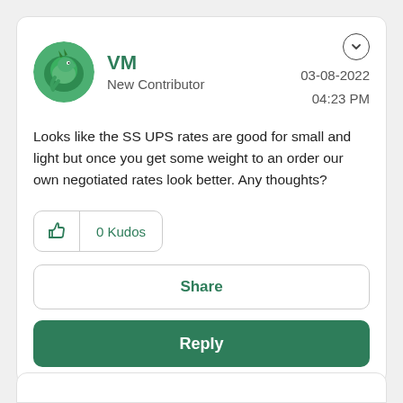[Figure (illustration): Circular green avatar with a dragon/lizard illustration]
VM
New Contributor
03-08-2022
04:23 PM
Looks like the SS UPS rates are good for small and light but once you get some weight to an order our own negotiated rates look better. Any thoughts?
0 Kudos
Share
Reply